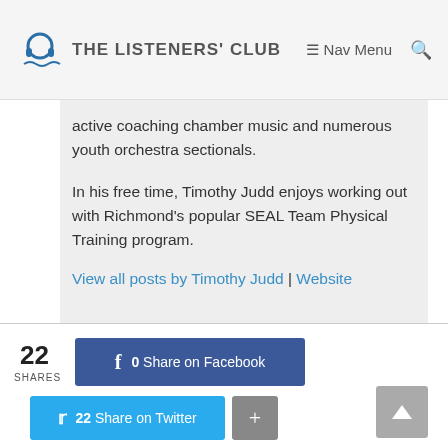THE LISTENERS' CLUB  Nav Menu
active coaching chamber music and numerous youth orchestra sectionals.
In his free time, Timothy Judd enjoys working out with Richmond's popular SEAL Team Physical Training program.
View all posts by Timothy Judd | Website
22 SHARES  0 Share on Facebook  22 Share on Twitter